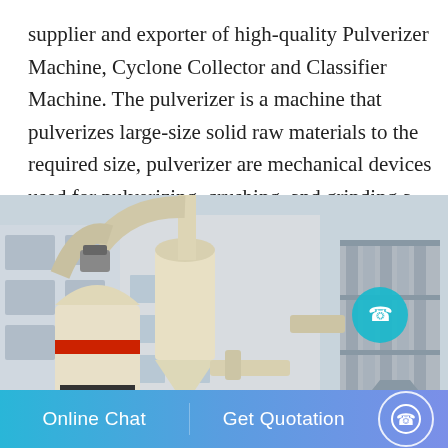supplier and exporter of high-quality Pulverizer Machine, Cyclone Collector and Classifier Machine. The pulverizer is a machine that pulverizes large-size solid raw materials to the required size, pulverizer are mechanical devices used for pulverizing, crushing, and grinding a wide variety
[Figure (photo): Industrial pulverizer machine system with cyclone collector and classifier, cream/beige colored heavy machinery with pipes and ducts, photographed outdoors against a building background]
Online Chat   Get Quotation